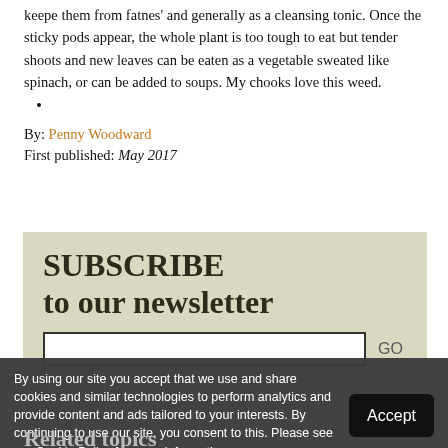keepe them from fatnes' and generally as a cleansing tonic. Once the sticky pods appear, the whole plant is too tough to eat but tender shoots and new leaves can be eaten as a vegetable sweated like spinach, or can be added to soups. My chooks love this weed.
By: Penny Woodward
First published: May 2017
SUBSCRIBE
to our newsletter
By using our site you accept that we use and share cookies and similar technologies to perform analytics and provide content and ads tailored to your interests. By continuing to use our site, you consent to this. Please see our Cookie Policy for more information.
Related topics